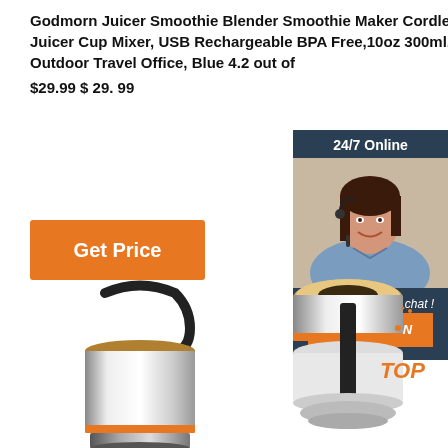Godmorn Juicer Smoothie Blender Smoothie Maker Cordless Small Juicer Cup Mixer, USB Rechargeable BPA Free,10oz 300ml, Home Outdoor Travel Office, Blue 4.2 out of $29.99 $ 29. 99
[Figure (other): Orange 'Get Price' button]
[Figure (photo): 24/7 Online chat panel with customer service representative photo, 'Click here for free chat!' text and orange QUOTATION button]
[Figure (photo): Product photo of juicer blender - left view showing main body with handle, stainless steel cylinder]
[Figure (photo): Product photo of juicer blender - right view showing blade/cap assembly with orange ring and TOP label]